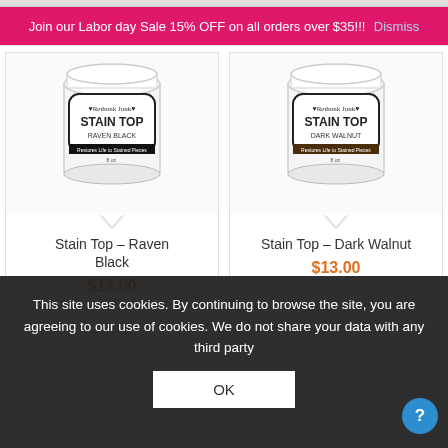Join our Labor day Sale 15% OFF on all orders over $35!!! Dismiss
[Figure (photo): White jar of Rethunk Junk Stain Top in Raven Black color, 8 oz]
Stain Top – Raven Black
$13.00
[Figure (photo): White jar of Rethunk Junk Stain Top in Dark Walnut color, 8 oz]
Stain Top – Dark Walnut
$13.00
This site uses cookies. By continuing to browse the site, you are agreeing to our use of cookies. We do not share your data with any third party